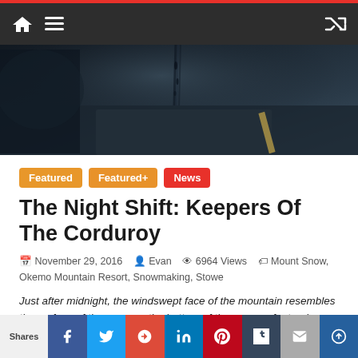Navigation bar with home, menu, and shuffle icons
[Figure (photo): Dark moody photo of a mountain or road surface at night, with water droplets or snow, dark tones of black and grey-blue]
Featured
Featured+
News
The Night Shift: Keepers Of The Corduroy
November 29, 2016   Evan   6964 Views   Mount Snow, Okemo Mountain Resort, Snowmaking, Stowe
Just after midnight, the windswept face of the mountain resembles the surface of the moon or the bottom of the ocean—featureless, remote and oppressive. The lamp on your helmet feebly pierces the night around you
Shares | Facebook | Twitter | Google+ | LinkedIn | Pinterest | Tumblr | Email | StumbleUpon